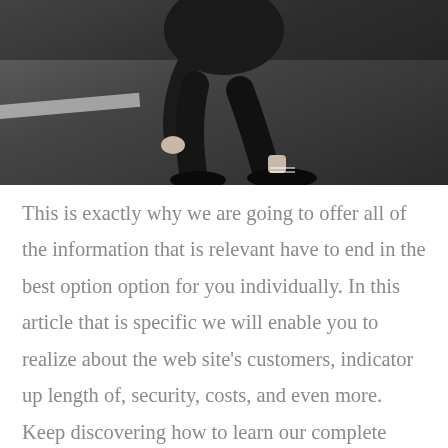[Figure (photo): Photo of a person crouching on dark asphalt, wearing black clothing and black lace-up shoes, only lower body and hands visible]
This is exactly why we are going to offer all of the information that is relevant have to end in the best option option for you individually. In this article that is specific we will enable you to realize about the web site's customers, indicator up length of, security, costs, and even more. Keep discovering how to learn our complete evaluations that are IAmNaughty. Unsurprisingly, many sexy singles love making use of our dating internet site to obtain appropriate individuals of their native space for several reasons. Our